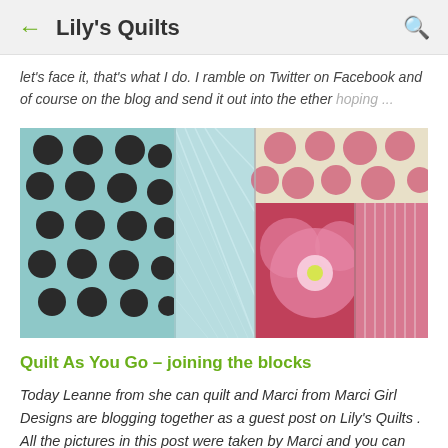Lily's Quilts
let's face it, that's what I do. I ramble on Twitter on Facebook and of course on the blog and send it out into the ether hoping ...
[Figure (photo): Close-up photo of a quilt showing patchwork blocks including teal/black polka dot fabric, light teal quilted section, pink floral fabric, and pink striped fabric.]
Quilt As You Go – joining the blocks
Today Leanne from she can quilt and Marci from Marci Girl Designs are blogging together as a guest post on Lily's Quilts . All the pictures in this post were taken by Marci and you can view them on her flickr page here .